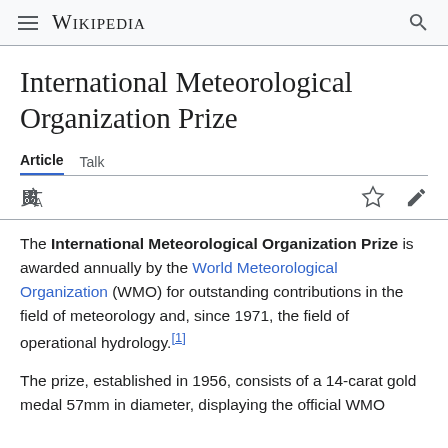Wikipedia
International Meteorological Organization Prize
Article  Talk
The International Meteorological Organization Prize is awarded annually by the World Meteorological Organization (WMO) for outstanding contributions in the field of meteorology and, since 1971, the field of operational hydrology.[1]
The prize, established in 1956, consists of a 14-carat gold medal 57mm in diameter, displaying the official WMO